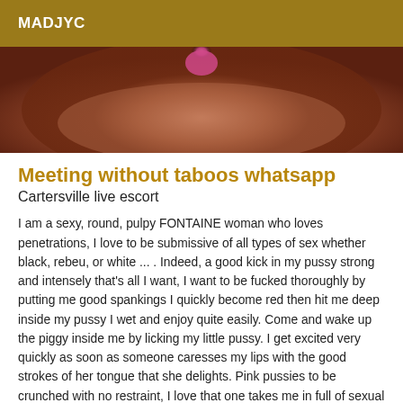MADJYC
[Figure (photo): Close-up photo with dark brown tones and a pink element visible at center top]
Meeting without taboos whatsapp
Cartersville live escort
I am a sexy, round, pulpy FONTAINE woman who loves penetrations, I love to be submissive of all types of sex whether black, rebeu, or white ... . Indeed, a good kick in my pussy strong and intensely that's all I want, I want to be fucked thoroughly by putting me good spankings I quickly become red then hit me deep inside my pussy I wet and enjoy quite easily. Come and wake up the piggy inside me by licking my little pussy. I get excited very quickly as soon as someone caresses my lips with the good strokes of her tongue that she delights. Pink pussies to be crunched with no restraint, I love that one takes me in full of sexual positions especially to make